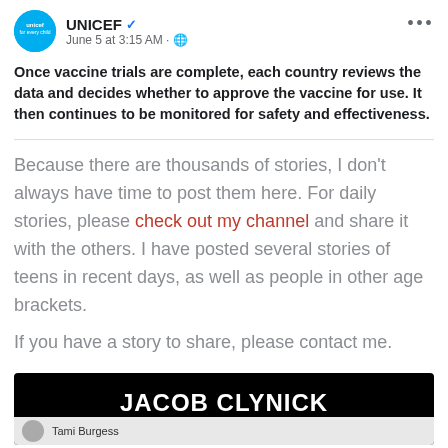UNICEF · June 5 at 3:15 AM
Once vaccine trials are complete, each country reviews the data and decides whether to approve the vaccine for use. It then continues to be monitored for safety and effectiveness.
Because there are thousands of stories, I don't always have time to post them here. For daily stories, please check out my channel and share it with the others. I have posted several stories of teens in recent days, as well as people in other age brackets.
If you have a story to share, please contact me.
[Figure (screenshot): Black banner image showing 'JACOB CLYNICK' in large white bold text, with a partial Facebook profile photo of 'Tami Burgess' at the bottom]